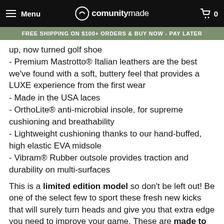Menu | communitymade | 0
FREE SHIPPING ON $100+ ORDERS & BUY NOW - PAY LATER
up, now turned golf shoe
- Premium Mastrotto® Italian leathers are the best we've found with a soft, buttery feel that provides a LUXE experience from the first wear
- Made in the USA laces
- OrthoLite® anti-microbial insole, for supreme cushioning and breathability
- Lightweight cushioning thanks to our hand-buffed, high elastic EVA midsole
- Vibram® Rubber outsole provides traction and durability on multi-surfaces
This is a limited edition model so don't be left out!  Be one of the select few to sport these fresh new kicks that will surely turn heads and give you that extra edge you need to improve your game. These are made to order and take